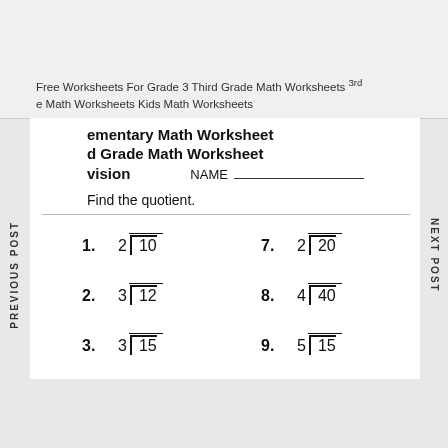Free Worksheets For Grade 3 Third Grade Math Worksheets 3rd Grade Math Worksheets Kids Math Worksheets
PREVIOUS POST
NEXT POST
Elementary Math Worksheet
3rd Grade Math Worksheet
Division   NAME ___________
Find the quotient.
1.   2)10
7.   2)20
2.   3)12
8.   4)40
3.   3)15
9.   5)15